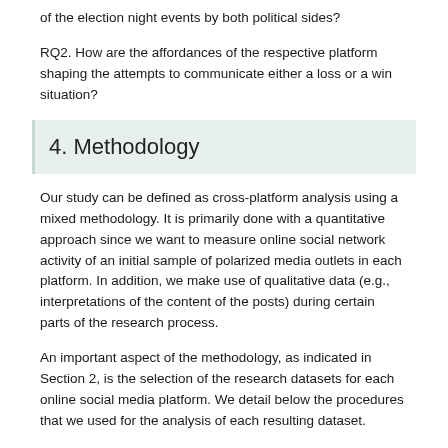of the election night events by both political sides?
RQ2. How are the affordances of the respective platform shaping the attempts to communicate either a loss or a win situation?
4. Methodology
Our study can be defined as cross-platform analysis using a mixed methodology. It is primarily done with a quantitative approach since we want to measure online social network activity of an initial sample of polarized media outlets in each platform. In addition, we make use of qualitative data (e.g., interpretations of the content of the posts) during certain parts of the research process.
An important aspect of the methodology, as indicated in Section 2, is the selection of the research datasets for each online social media platform. We detail below the procedures that we used for the analysis of each resulting dataset.
Two common elements were used for the content analysis of the posts in the three platforms (Facebook, Tweets, or Hashtags...